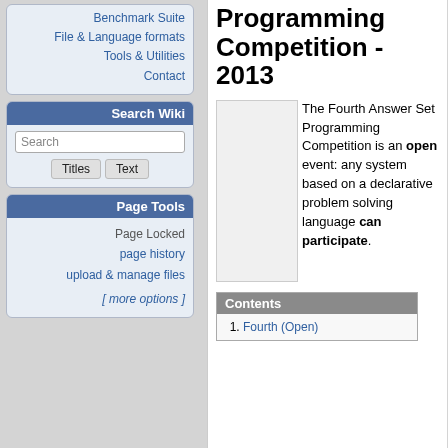Benchmark Suite
File & Language formats
Tools & Utilities
Contact
Search Wiki
Page Tools
Page Locked
page history
upload & manage files
[ more options ]
Programming Competition - 2013
The Fourth Answer Set Programming Competition is an open event: any system based on a declarative problem solving language can participate.
Contents
1. Fourth (Open)